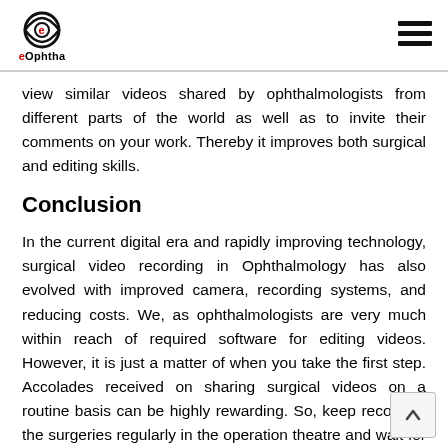eOphtha
view similar videos shared by ophthalmologists from different parts of the world as well as to invite their comments on your work. Thereby it improves both surgical and editing skills.
Conclusion
In the current digital era and rapidly improving technology, surgical video recording in Ophthalmology has also evolved with improved camera, recording systems, and reducing costs. We, as ophthalmologists are very much within reach of required software for editing videos. However, it is just a matter of when you take the first step. Accolades received on sharing surgical videos on a routine basis can be highly rewarding. So, keep recording the surgeries regularly in the operation theatre and wait for that one particularly interesting case to share.